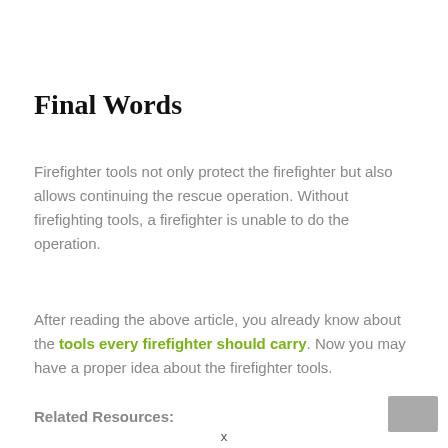Final Words
Firefighter tools not only protect the firefighter but also allows continuing the rescue operation. Without firefighting tools, a firefighter is unable to do the operation.
After reading the above article, you already know about the tools every firefighter should carry. Now you may have a proper idea about the firefighter tools.
Related Resources:
x